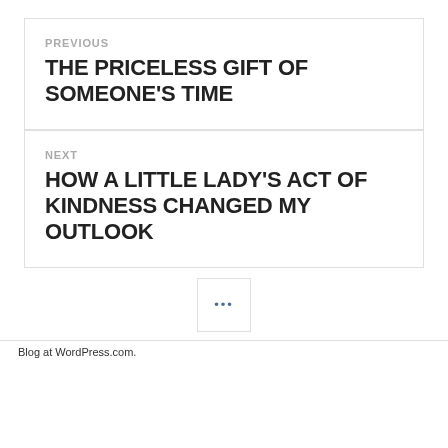PREVIOUS
THE PRICELESS GIFT OF SOMEONE'S TIME
NEXT
HOW A LITTLE LADY'S ACT OF KINDNESS CHANGED MY OUTLOOK
Blog at WordPress.com.